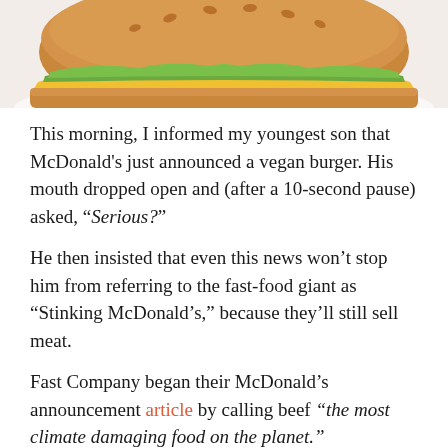[Figure (photo): Top portion of a burger on a white background, showing the bun with sesame seeds, yellow cheese, and green lettuce/toppings, cropped at the top of the page.]
This morning, I informed my youngest son that McDonald’s just announced a vegan burger. His mouth dropped open and (after a 10-second pause) asked, “Serious?”
He then insisted that even this news won’t stop him from referring to the fast-food giant as “Stinking McDonald’s,” because they’ll still sell meat.
Fast Company began their McDonald’s announcement article by calling beef “the most climate damaging food on the planet.”